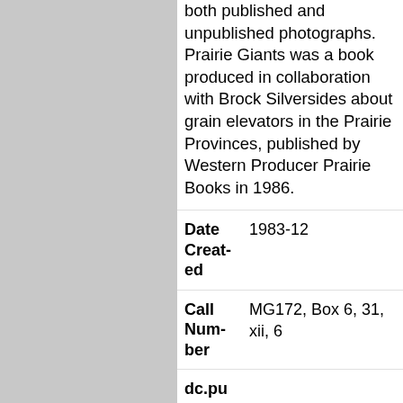both published and unpublished photographs. Prairie Giants was a book produced in collaboration with Brock Silversides about grain elevators in the Prairie Provinces, published by Western Producer Prairie Books in 1986.
Date Created	1983-12
Call Number	MG172, Box 6, 31, xii, 6
dc.pu blish...